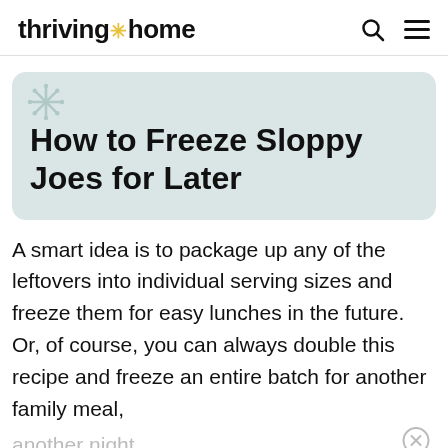thriving home
How to Freeze Sloppy Joes for Later
A smart idea is to package up any of the leftovers into individual serving sizes and freeze them for easy lunches in the future. Or, of course, you can always double this recipe and freeze an entire batch for another family meal, another night.